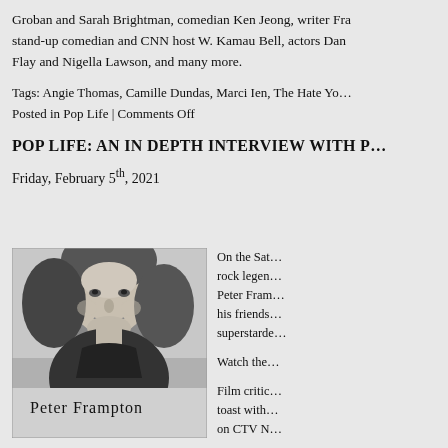Groban and Sarah Brightman, comedian Ken Jeong, writer Fra... stand-up comedian and CNN host W. Kamau Bell, actors Dan... Flay and Nigella Lawson, and many more.
Tags: Angie Thomas, Camille Dundas, Marci Ien, The Hate Yo...
Posted in Pop Life | Comments Off
POP LIFE: AN IN DEPTH INTERVIEW WITH P...
Friday, February 5th, 2021
[Figure (photo): Black and white artistic photo of Peter Frampton with handwritten name 'Peter Frampton' at the bottom]
On the Sat... rock legen... Peter Fram... his friends superstarde...
Watch the
Film critic... toast with... on CTV N...